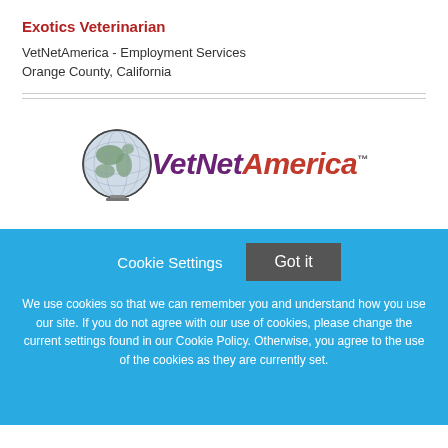Exotics Veterinarian
VetNetAmerica - Employment Services
Orange County, California
[Figure (logo): VetNetAmerica logo with globe and stylized text]
Cookie Settings   Got it
We use cookies so that we can remember you and understand how you use our site. If you do not agree with our use of cookies, please change the current settings found in our Cookie Policy. Otherwise, you agree to the use of the cookies as they are currently set.